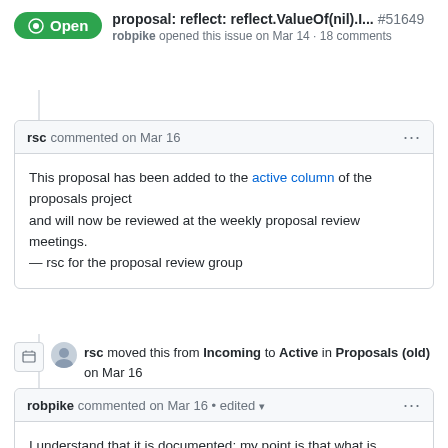proposal: reflect: reflect.ValueOf(nil).I... #51649 robpike opened this issue on Mar 14 · 18 comments
rsc commented on Mar 16
This proposal has been added to the active column of the proposals project
and will now be reviewed at the weekly proposal review meetings.
— rsc for the proposal review group
rsc moved this from Incoming to Active in Proposals (old) on Mar 16
robpike commented on Mar 16 • edited
I understand that it is documented; my point is that what is documented is far from intuitive. It was perhaps a mistake to